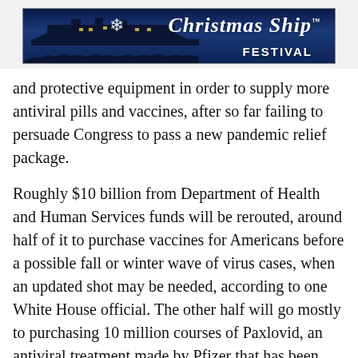[Figure (illustration): Christmas Ship Festival banner advertisement with dark blue night sky background, ship silhouette, crowd silhouette at bottom, snowflake icon, and text reading 'Christmas Ship FESTIVAL' in white italic and bold lettering]
and protective equipment in order to supply more antiviral pills and vaccines, after so far failing to persuade Congress to pass a new pandemic relief package.
Roughly $10 billion from Department of Health and Human Services funds will be rerouted, around half of it to purchase vaccines for Americans before a possible fall or winter wave of virus cases, when an updated shot may be needed, according to one White House official. The other half will go mostly to purchasing 10 million courses of Paxlovid, an antiviral treatment made by Pfizer that has been shown to substantially reduce the severity of COVID-19 in high-risk people, the official said. Around $300 million will be spent on another kind of treatment,